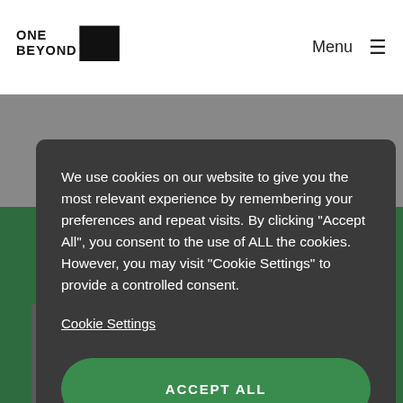[Figure (logo): One Beyond logo - text with black rectangle]
Menu ≡
We use cookies on our website to give you the most relevant experience by remembering your preferences and repeat visits. By clicking "Accept All", you consent to the use of ALL the cookies. However, you may visit "Cookie Settings" to provide a controlled consent.
Cookie Settings
ACCEPT ALL
[Figure (photo): Photo of a tablet/news website visible at bottom of page]